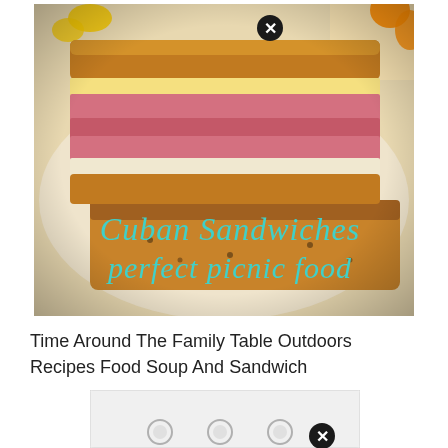[Figure (photo): Photo of Cuban sandwiches (pressed/grilled sandwiches with ham, cheese, and other fillings) on a plate with a floral background. Text overlay in cursive teal reads 'Cuban Sandwiches perfect picnic food'. A small black X close button appears at the top center.]
Time Around The Family Table Outdoors Recipes Food Soup And Sandwich
[Figure (photo): Partial photo of what appears to be a white/light-colored container or storage box. A small black X close button appears at the bottom right.]